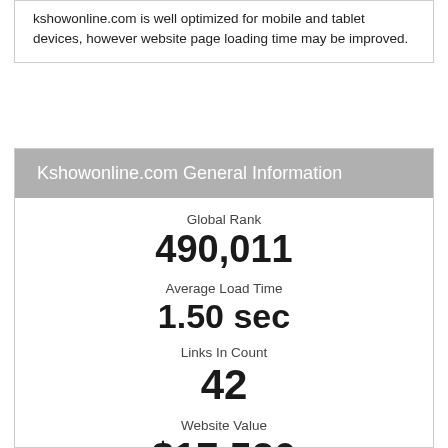kshowonline.com is well optimized for mobile and tablet devices, however website page loading time may be improved.
Kshowonline.com General Information
Global Rank
490,011
Average Load Time
1.50 sec
Links In Count
42
Website Value
$17,520